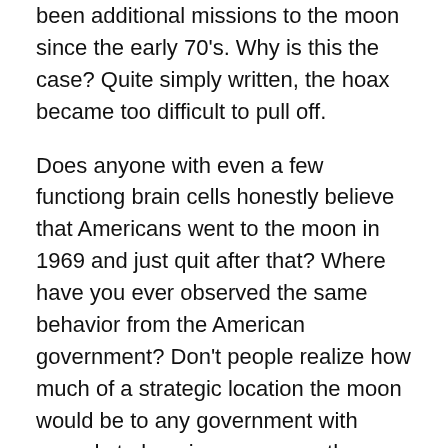been additional missions to the moon since the early 70's. Why is this the case? Quite simply written, the hoax became too difficult to pull off.
Does anyone with even a few functiong brain cells honestly believe that Americans went to the moon in 1969 and just quit after that? Where have you ever observed the same behavior from the American government? Don't people realize how much of a strategic location the moon would be to any government with regards to keeping an eye on the Earth? Building a military installation on the moon would allow a specific country to practically rule the world with military supremacy.
In today's environment there are too many computer savvy people that have the skillset to detect a great fraud when it's presented. It's too dangerous for any space agency to create future hoaxes claiming astronauts are walking on a